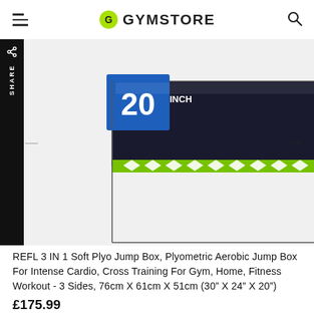GYMSTORE
[Figure (photo): A REFL soft plyo jump box shown from an angle, with a dark surface, green trim with white arrow chevrons, and a blue label with the number 20 visible.]
REFL 3 IN 1 Soft Plyo Jump Box, Plyometric Aerobic Jump Box For Intense Cardio, Cross Training For Gym, Home, Fitness Workout - 3 Sides, 76cm X 61cm X 51cm (30" X 24" X 20")
£175.99